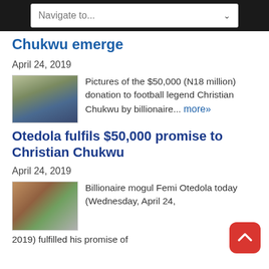Navigate to...
Chukwu emerge
April 24, 2019
[Figure (photo): Group photo of men including Christian Chukwu]
Pictures of the $50,000 (N18 million) donation to football legend Christian Chukwu by billionaire... more»
Otedola fulfils $50,000 promise to Christian Chukwu
April 24, 2019
[Figure (photo): Photo collage related to Otedola and Chukwu]
Billionaire mogul Femi Otedola today (Wednesday, April 24, 2019) fulfilled his promise of